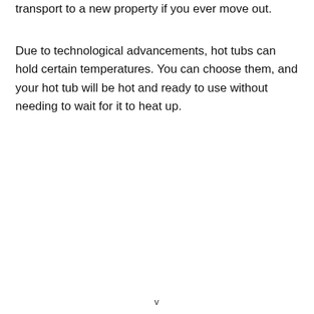transport to a new property if you ever move out.
Due to technological advancements, hot tubs can hold certain temperatures. You can choose them, and your hot tub will be hot and ready to use without needing to wait for it to heat up.
v